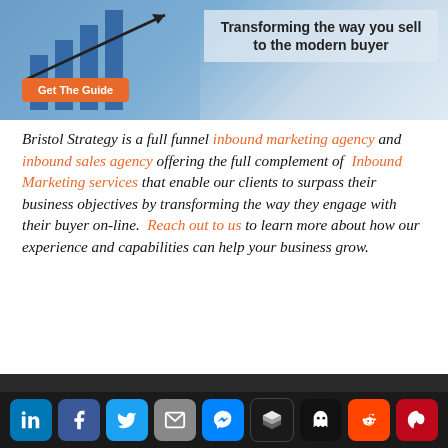[Figure (photo): Banner advertisement showing a bar chart graphic with an arrow, people in background, text 'Transforming the way you sell to the modern buyer', and an orange 'Get The Guide' button]
Bristol Strategy is a full funnel inbound marketing agency and inbound sales agency offering the full complement of Inbound Marketing services that enable our clients to surpass their business objectives by transforming the way they engage with their buyer on-line. Reach out to us to learn more about how our experience and capabilities can help your business grow.
Image copyright: 123RF Stock Photo
[Figure (infographic): Social media sharing icon buttons row: LinkedIn, Facebook, Twitter, Email, Messenger, Buffer, Ghost, Reddit, Pinterest]